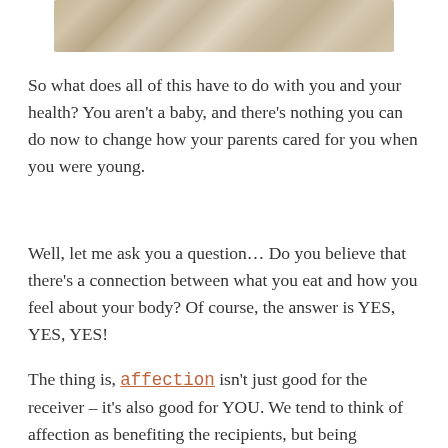[Figure (photo): Bottom portion of a photo showing smooth stones or rocks with light blue-gray and beige tones]
So what does all of this have to do with you and your health? You aren’t a baby, and there’s nothing you can do now to change how your parents cared for you when you were young.
Well, let me ask you a question… Do you believe that there’s a connection between what you eat and how you feel about your body? Of course, the answer is YES, YES, YES!
The thing is, affection isn’t just good for the receiver – it’s also good for YOU. We tend to think of affection as benefiting the recipients, but being